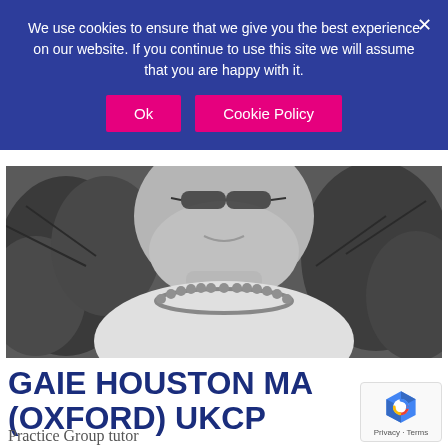We use cookies to ensure that we give you the best experience on our website. If you continue to use this site we will assume that you are happy with it.
Ok
Cookie Policy
[Figure (photo): Black and white close-up photo of a person wearing a beaded necklace, with foliage in the background. Only the lower face and neck area are visible.]
GAIE HOUSTON MA (OXFORD) UKCP
Practice Group tutor